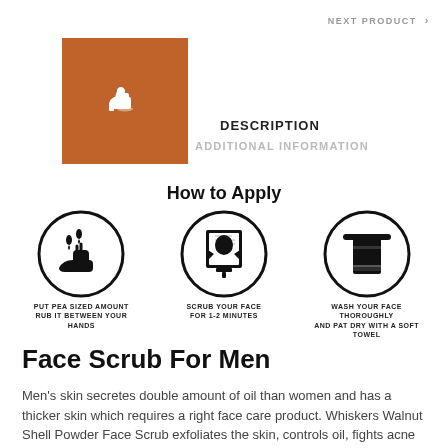NEXT PRODUCT >
[Figure (logo): Brown/orange square with white thumbs-up icon]
DESCRIPTION
ADDITIONAL INFORMATION
How to Apply
[Figure (infographic): Three circular icons showing how to apply: 1) Put pea sized amount, rub it between your hands; 2) Scrub your face for 1-2 minutes; 3) Wash your face thoroughly and pat dry with a soft towel]
Face Scrub For Men
Men's skin secretes double amount of oil than women and has a thicker skin which requires a right face care product. Whiskers Walnut Shell Powder Face Scrub exfoliates the skin, controls oil, fights acne and helps in de tan.